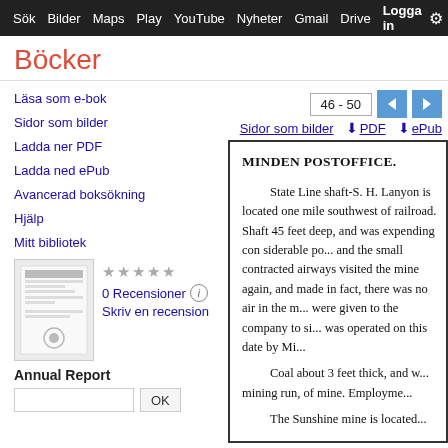Sök  Bilder  Maps  Play  YouTube  Nyheter  Gmail  Drive  Logga in  ⚙
Böcker
46 - 50
Sidor som bilder   ⬇ PDF   ⬇ ePub
Läsa som e-bok
Sidor som bilder
Ladda ner PDF
Ladda ned ePub
Avancerad boksökning
Hjälp
Mitt bibliotek
★★★★★
0 Recensioner ⓘ
Skriv en recension
[Figure (other): Book cover thumbnail for Annual Report]
Annual Report
OK
MINDEN POSTOFFICE.

State Line shaft-S. H. Lanyon is located one mile southwest of railroad. Shaft 45 feet deep, and was expending con siderable po... and the small contracted airways visited the mine again, and made in fact, there was no air in the m... were given to the company to si... was operated on this date by Mi...

Coal about 3 feet thick, and w... mining run, of mine. Employme...

The Sunshine mine is located...